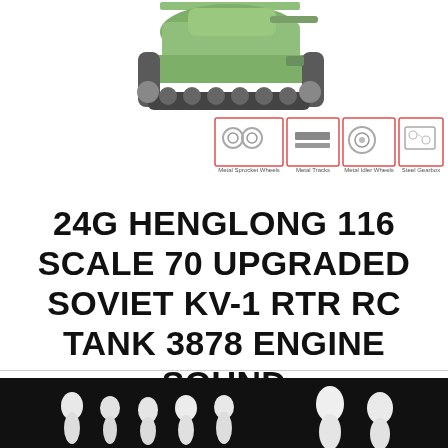[Figure (photo): RC tank product image: green Soviet KV-1 tank model with four inset component photos below showing Metal Sprocket Wheels, Metal Tracks, Metal Idler Wheels, and Steel Gearbox]
24G HENGLONG 116 SCALE 70 UPGRADED SOVIET KV-1 RTR RC TANK 3878 ENGINE SOUND
$283.95
[Figure (photo): Photo of white miniature figurines (soldier/person shapes) arranged on a dark background]